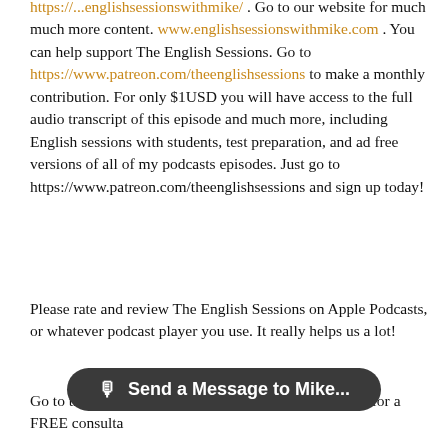https://...englishsessionswithmike/ . Go to our website for much much more content. www.englishsessionswithmike.com . You can help support The English Sessions. Go to https://www.patreon.com/theenglishsessions to make a monthly contribution. For only $1USD you will have access to the full audio transcript of this episode and much more, including English sessions with students, test preparation, and ad free versions of all of my podcasts episodes. Just go to https://www.patreon.com/theenglishsessions and sign up today!
Please rate and review The English Sessions on Apple Podcasts, or whatever podcast player you use. It really helps us a lot!
Go to the website, www.englishsessionswithmike.com for a FREE consulta... talk to me about your English? I offer a free 30-minute
[Figure (other): Dark rounded rectangle toast notification button with microphone icon reading 'Send a Message to Mike...']